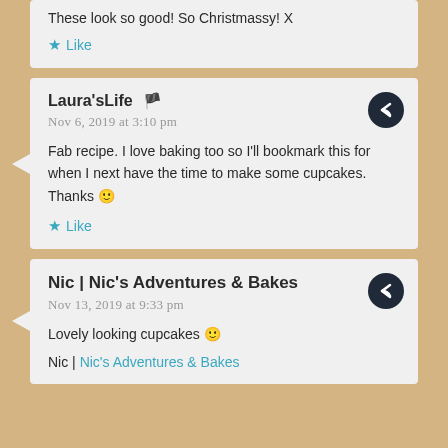These look so good! So Christmassy! X
Like
Laura'sLife 🏴
Nov 6, 2019 at 3:10 pm
Fab recipe. I love baking too so I'll bookmark this for when I next have the time to make some cupcakes. Thanks 🙂
Like
Nic | Nic's Adventures & Bakes
Nov 13, 2019 at 9:33 pm
Lovely looking cupcakes 🙂
Nic | Nic's Adventures & Bakes